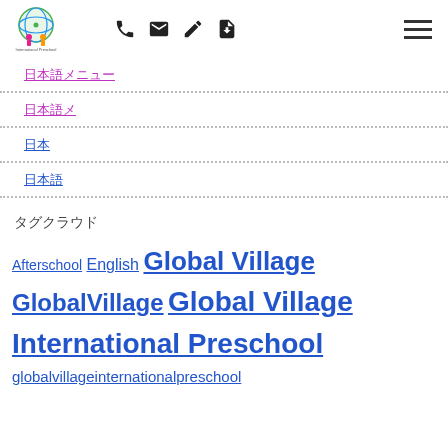Global Village International Preschool navigation header with logo, phone, email, edit, download icons and hamburger menu
日本語メニュー item 1 (Japanese)
日本語メニュー item 2 (Japanese)
日本 (Japanese short)
日本語 (Japanese)
タグクラウド
Afterschool English Global Village GlobalVillage Global Village International Preschool globalvillageinternationalpreschool